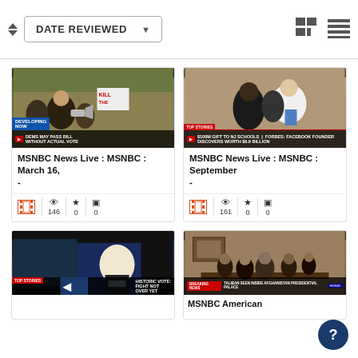DATE REVIEWED (sort dropdown with grid/list view icons)
[Figure (screenshot): MSNBC News Live thumbnail showing protest crowd with 'KILL' sign and megaphone, chyron: DEMS MAY PASS BILL WITHOUT ACTUAL VOTE]
MSNBC News Live : MSNBC : March 16, -
146 views, 0 favorites, 0 comments
[Figure (screenshot): MSNBC News Live thumbnail showing people in conversation, chyron: $100M GIFT TO NJ SCHOOLS / FORBES: FACEBOOK FOUNDER DISCOVERED WORTH $6.9 BILLION]
MSNBC News Live : MSNBC : September -
161 views, 0 favorites, 0 comments
[Figure (screenshot): MSNBC News Live thumbnail showing news anchor, chyron: HISTORIC VOTE: FIGHT NOT OVER YET]
[Figure (screenshot): MSNBC American thumbnail showing Taliban fighters inside Afghanistan Presidential Palace]
MSNBC American